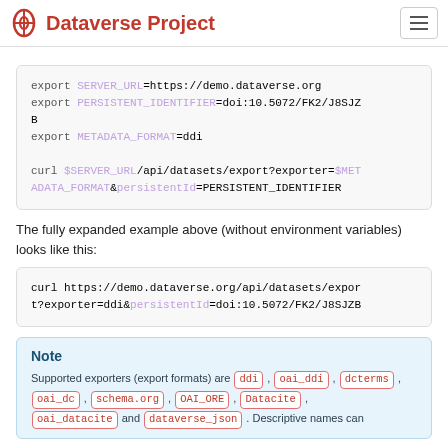Dataverse Project
export SERVER_URL=https://demo.dataverse.org
export PERSISTENT_IDENTIFIER=doi:10.5072/FK2/J8SJZB
export METADATA_FORMAT=ddi

curl $SERVER_URL/api/datasets/export?exporter=$METADATA_FORMAT&persistentId=PERSISTENT_IDENTIFIER
The fully expanded example above (without environment variables) looks like this:
curl https://demo.dataverse.org/api/datasets/export?exporter=ddi&persistentId=doi:10.5072/FK2/J8SJZB
Note
Supported exporters (export formats) are ddi , oai_ddi , dcterms , oai_dc , schema.org , OAI_ORE , Datacite , oai_datacite and dataverse_json . Descriptive names can